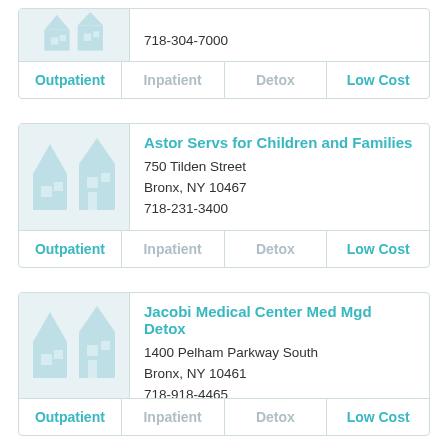718-304-7000
| Outpatient | Inpatient | Detox | Low Cost |
| --- | --- | --- | --- |
Astor Servs for Children and Families
750 Tilden Street
Bronx, NY 10467
718-231-3400
| Outpatient | Inpatient | Detox | Low Cost |
| --- | --- | --- | --- |
Jacobi Medical Center Med Mgd Detox
1400 Pelham Parkway South
Bronx, NY 10461
718-918-4465
| Outpatient | Inpatient | Detox | Low Cost |
| --- | --- | --- | --- |